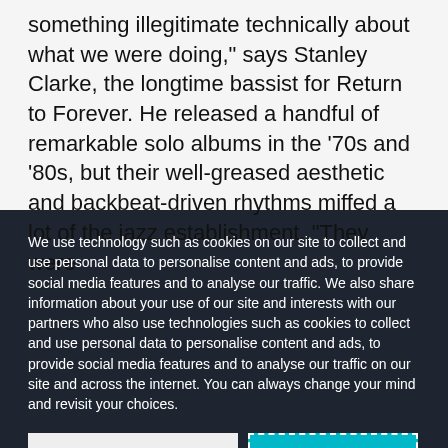something illegitimate technically about what we were doing," says Stanley Clarke, the longtime bassist for Return to Forever. He released a handful of remarkable solo albums in the '70s and '80s, but their well-greased aesthetic and backbeat-driven rhythms miffed a lot of the jazz establishment. "They were
We use technology such as cookies on our site to collect and use personal data to personalise content and ads, to provide social media features and to analyse our traffic. We also share information about your use of our site and interests with our partners who also use technologies such as cookies to collect and use personal data to personalise content and ads, to provide social media features and to analyse our traffic on our site and across the internet. You can always change your mind and revisit your choices.
Manage Options
I Accept